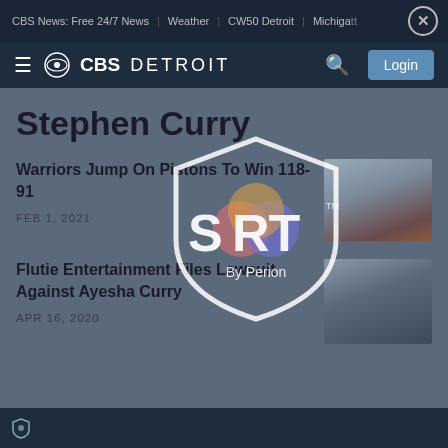CBS News: Free 24/7 News | Weather | CW50 Detroit | Michigan att
CBS DETROIT — Login
Stephen Curry
Warriors Jump On Pistons To Win 118-91 — FEB 1, 2021
[Figure (logo): SORT by Perion watermark logo overlay]
Flutie Entertainment Files Lawsuit Against Ayesha Curry — APR 16, 2020